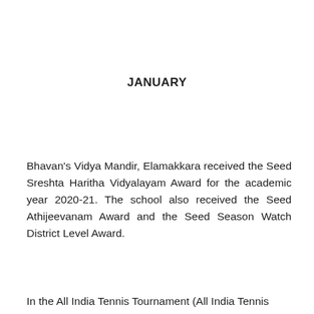JANUARY
Bhavan's Vidya Mandir, Elamakkara received the Seed Sreshta Haritha Vidyalayam Award for the academic year 2020-21. The school also received the Seed Athijeevanam Award and the Seed Season Watch District Level Award.
In the All India Tennis Tournament (All India Tennis